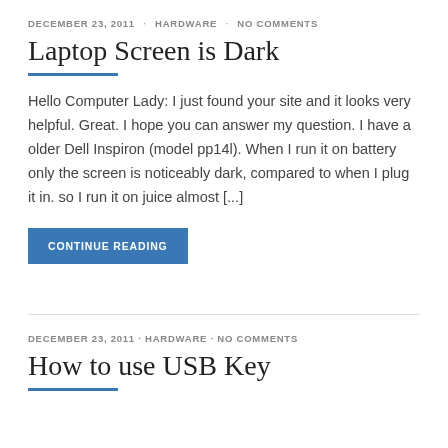DECEMBER 23, 2011 · HARDWARE · NO COMMENTS
Laptop Screen is Dark
Hello Computer Lady: I just found your site and it looks very helpful. Great. I hope you can answer my question. I have a older Dell Inspiron (model pp14l). When I run it on battery only the screen is noticeably dark, compared to when I plug it in. so I run it on juice almost [...]
CONTINUE READING
DECEMBER 23, 2011 · HARDWARE · NO COMMENTS
How to use USB Key